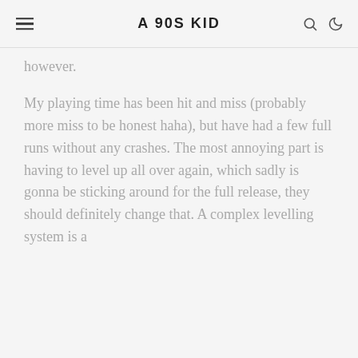A 90S KID
however.
My playing time has been hit and miss (probably more miss to be honest haha), but have had a few full runs without any crashes. The most annoying part is having to level up all over again, which sadly is gonna be sticking around for the full release, they should definitely change that. A complex levelling system is a